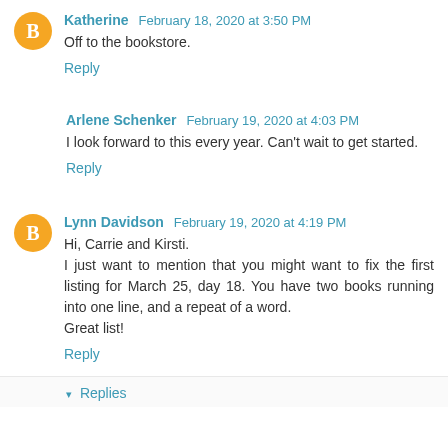Katherine  February 18, 2020 at 3:50 PM
Off to the bookstore.
Reply
Arlene Schenker  February 19, 2020 at 4:03 PM
I look forward to this every year. Can't wait to get started.
Reply
Lynn Davidson  February 19, 2020 at 4:19 PM
Hi, Carrie and Kirsti.
I just want to mention that you might want to fix the first listing for March 25, day 18. You have two books running into one line, and a repeat of a word.
Great list!
Reply
Replies